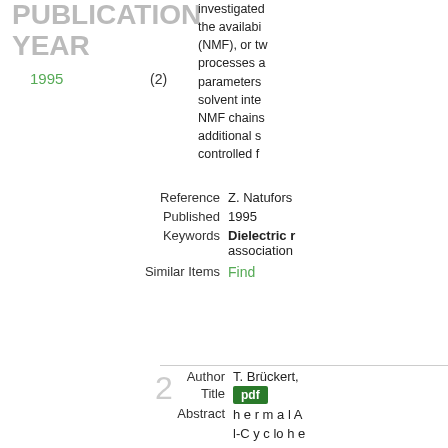PUBLICATION YEAR
1995   (2)
investigated the availabi (NMF), or tw processes a parameters solvent inte NMF chains additional s controlled f
Reference   Z. Naturfors
Published   1995
Keywords   Dielectric r  association
Similar Items   Find
2
Author   T. Brückert,
Title   pdf
Abstract   h e r m a l A l-C y c lo h e aid of DTA t 7PCH, was n permittivity the f